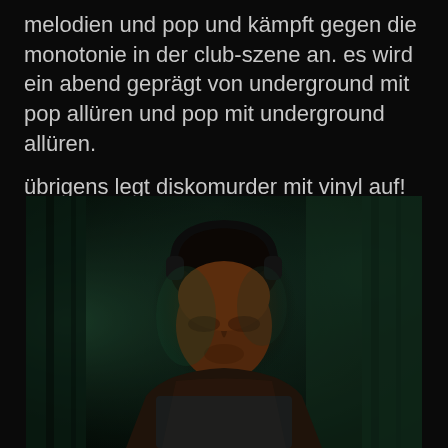melodien und pop und kämpft gegen die monotonie in der club-szene an. es wird ein abend geprägt von underground mit pop allüren und pop mit underground allüren.

übrigens legt diskomurder mit vinyl auf!
[Figure (photo): Young person wearing headphones looking down, lit by green and blue tones in a dark setting]